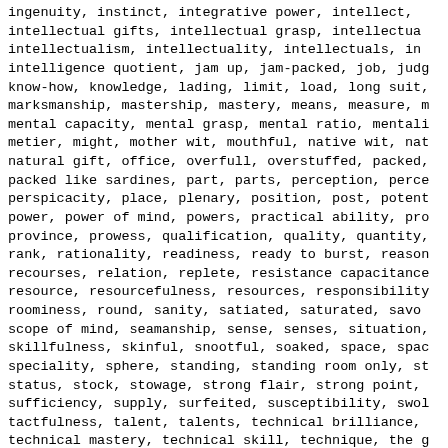ingenuity, instinct, integrative power, intellect, intellectual gifts, intellectual grasp, intellectualism, intellectuality, intellectuals, intelligence quotient, jam up, jam-packed, job, know-how, knowledge, lading, limit, load, long suit, marksmanship, mastership, mastery, means, measure, mental capacity, mental grasp, mental ratio, mentality, metier, might, mother wit, mouthful, native wit, natural gift, office, overfull, overstuffed, packed, packed like sardines, part, parts, perception, perspicacity, place, plenary, position, post, potential, power, power of mind, powers, practical ability, province, prowess, qualification, quality, quantity, rank, rationality, readiness, ready to burst, recourses, relation, replete, resistance capacitance, resource, resourcefulness, resources, responsibility, roominess, round, sanity, satiated, saturated, scope of mind, seamanship, sense, senses, situation, skillfulness, skinful, snootful, soaked, space, speciality, sphere, standing, standing room only, status, stock, stowage, strong flair, strong point, sufficiency, supply, surfeited, susceptibility, tactfulness, talent, talents, technical brilliance, technical mastery, technical skill, technique, the stuff, thinking power, timing, tonnage, topful, understanding, virtuosity, volume, ways, ways and means, what it takes, wherewith, wherewithal, wit, wits, workmanship